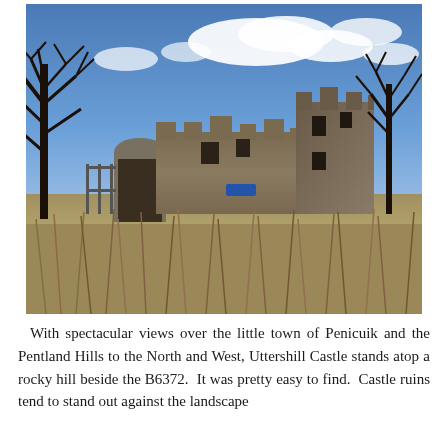[Figure (photo): Photograph of Uttershill Castle ruins on a sunny day with blue sky and white clouds. Two bare-branched trees frame the stone ruins in the center. Tall dry grass and weeds fill the foreground. A metal fence/gate is visible among the ruins. The castle walls are partially standing with window openings visible.]
With spectacular views over the little town of Penicuik and the Pentland Hills to the North and West, Uttershill Castle stands atop a rocky hill beside the B6372.  It was pretty easy to find.  Castle ruins tend to stand out against the landscape